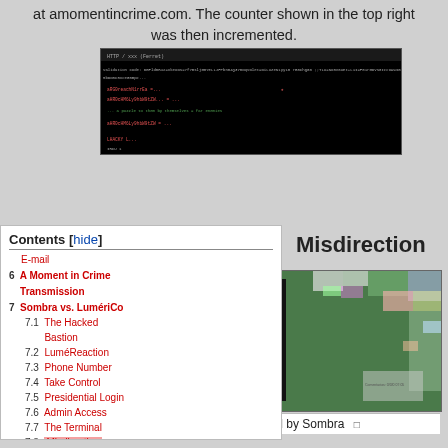at amomentincrime.com. The counter shown in the top right was then incremented.
[Figure (screenshot): Terminal/command line screenshot with dark background showing code or command output in red and cyan text]
Contents [hide]
E-mail
6  A Moment in Crime Transmission
7  Sombra vs. LumériCo
7.1  The Hacked Bastion
7.2  LuméReaction
7.3  Phone Number
7.4  Take Control
7.5  Presidential Login
7.6  Admin Access
7.7  The Terminal
7.8  Misdirection
Misdirection
[Figure (screenshot): Screenshot of lumerico.mx website hacked by Sombra, showing a skull made of purple ASCII characters on a dark background with glitchy green/pixel art border]
lumerico.mx website hacked by Sombra